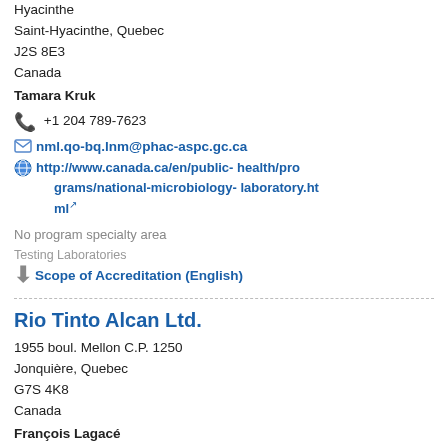Hyacinthe
Saint-Hyacinthe, Quebec
J2S 8E3
Canada
Tamara Kruk
+1 204 789-7623
nml.qo-bq.lnm@phac-aspc.gc.ca
http://www.canada.ca/en/public-health/programs/national-microbiology-laboratory.html
No program specialty area
Testing Laboratories
Scope of Accreditation (English)
Rio Tinto Alcan Ltd.
1955 boul. Mellon C.P. 1250
Jonquière, Quebec
G7S 4K8
Canada
François Lagacé
418 699 6585 ext. 3609
francois.lagace@riotinto.com
http://www.riotinto.com
No program specialty area
Testing Laboratories
Scope of Accreditation (English)